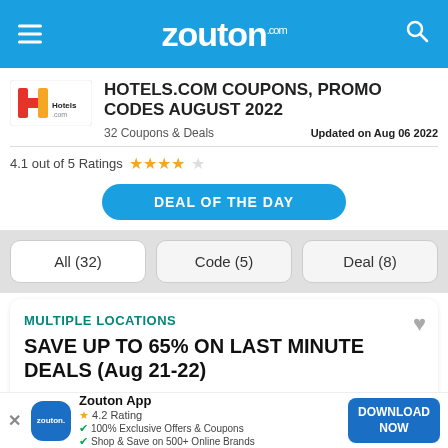zouton.com
HOTELS.COM COUPONS, PROMO CODES AUGUST 2022
32 Coupons & Deals    Updated on Aug 06 2022
4.1 out of 5 Ratings ★★★★☆
DEAL OF THE DAY
All (32)
Code (5)
Deal (8)
MULTIPLE LOCATIONS
SAVE UP TO 65% ON LAST MINUTE DEALS (Aug 21-22)
Show Details
VIEW DEAL
Zouton App
4.2 Rating
100% Exclusive Offers & Coupons
Shop & Save on 500+ Online Brands